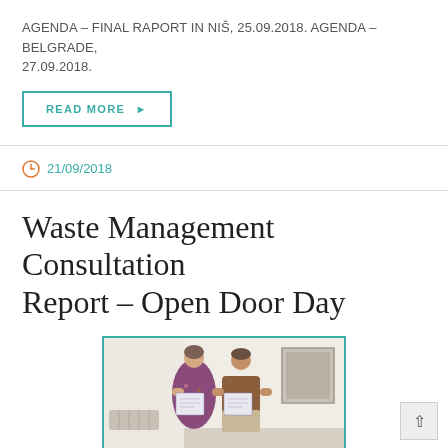AGENDA – FINAL RAPORT IN NIŠ, 25.09.2018. AGENDA – BELGRADE, 27.09.2018.
READ MORE ▶
21/09/2018
Waste Management Consultation Report – Open Door Day
[Figure (photo): Two women standing indoors holding certificates/documents, with a framed picture on the wall behind them.]